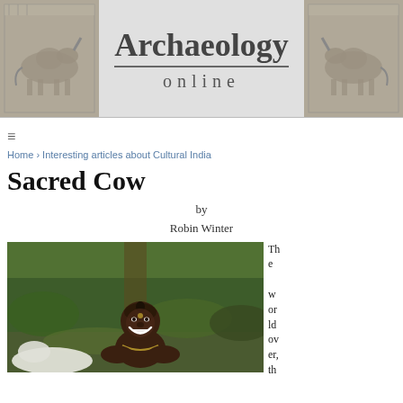Archaeology online
☰
Home › Interesting articles about Cultural India
Sacred Cow
by
Robin Winter
[Figure (photo): A smiling young African child photographed outdoors with green vegetation in the background, appearing to be with a white animal (cow)]
The world over, th